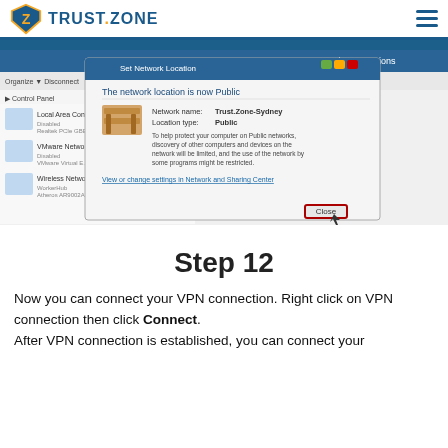TRUST.ZONE
[Figure (screenshot): Windows 'Set Network Location' dialog showing 'The network location is now Public' with network name Trust.Zone-Sydney. A Close button is highlighted with a red rectangle. Behind the dialog is the Network Connections control panel window.]
Step 12
Now you can connect your VPN connection. Right click on VPN connection then click Connect.
After VPN connection is established, you can connect your